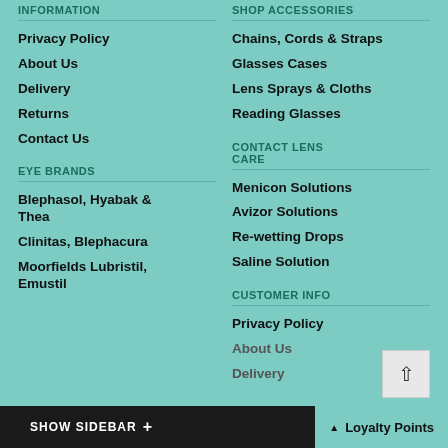INFORMATION
Privacy Policy
About Us
Delivery
Returns
Contact Us
EYE BRANDS
Blephasol, Hyabak & Thea
Clinitas, Blephacura
Moorfields Lubristil, Emustil
SHOP ACCESSORIES
Chains, Cords & Straps
Glasses Cases
Lens Sprays & Cloths
Reading Glasses
CONTACT LENS CARE
Menicon Solutions
Avizor Solutions
Re-wetting Drops
Saline Solution
CUSTOMER INFO
Privacy Policy
About Us
Delivery
SHOW SIDEBAR +    Loyalty Points